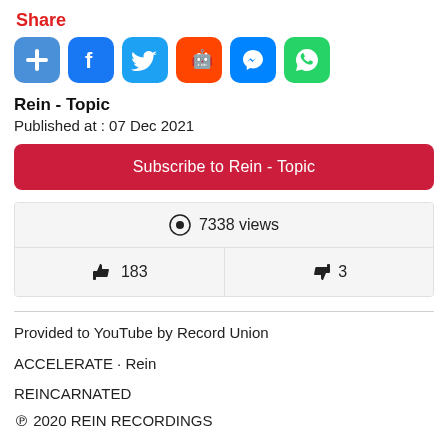Share
[Figure (infographic): Social share buttons row: plus/add (blue), Facebook (blue), Twitter (light blue), Reddit (orange), Messenger (blue), WhatsApp (green)]
Rein - Topic
Published at : 07 Dec 2021
Subscribe to Rein - Topic
👁 7338 views
👍 183    👎 3
Provided to YouTube by Record Union
ACCELERATE · Rein
REINCARNATED
℗ 2020 REIN RECORDINGS